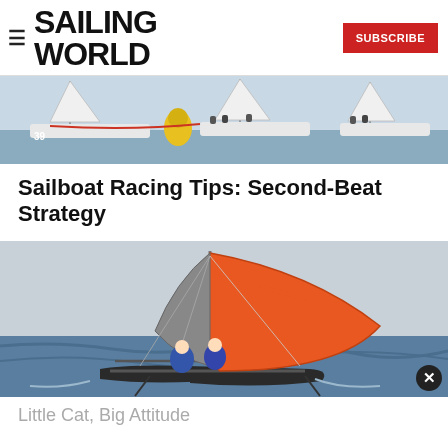SAILING WORLD
[Figure (photo): Sailboat racing scene with multiple boats near a yellow marker buoy, number 39 visible on hull]
Sailboat Racing Tips: Second-Beat Strategy
[Figure (photo): Catamaran sailing boat with large orange spinnaker sail on open water, two crew members hiking out]
Little Cat, Big Attitude